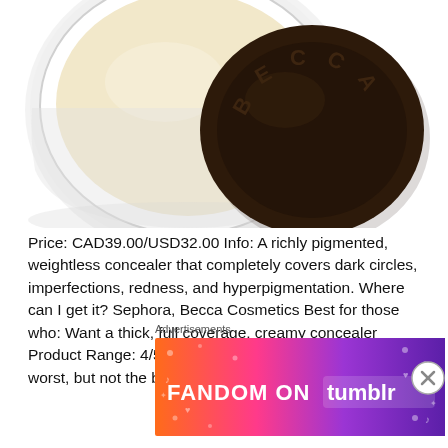[Figure (photo): Top-down view of an open BECCA concealer pot. The pot contains a creamy light beige/ivory colored concealer. The dark brown circular lid with BECCA embossed text is positioned to the right overlapping the container.]
Price: CAD39.00/USD32.00 Info: A richly pigmented, weightless concealer that completely covers dark circles, imperfections, redness, and hyperpigmentation. Where can I get it? Sephora, Becca Cosmetics Best for those who: Want a thick, full coverage, creamy concealer Product Range: 4/5 Offers in 12 different shades, not the worst, but not the best
[Figure (other): Advertisement banner for Fandom on Tumblr. Colorful gradient banner from orange/red on left to purple on right with white text reading FANDOM ON tumblr with decorative icons and doodles.]